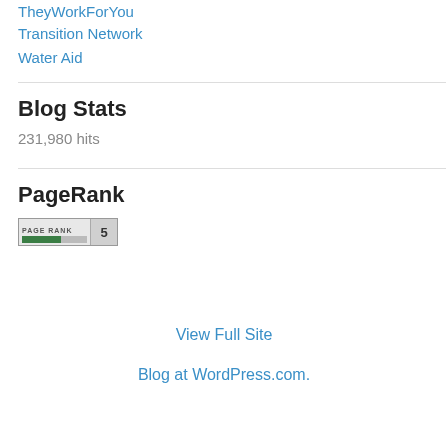TheyWorkForYou
Transition Network
Water Aid
Blog Stats
231,980 hits
PageRank
[Figure (other): PageRank badge showing PAGE RANK 5 with green bar indicator]
View Full Site
Blog at WordPress.com.